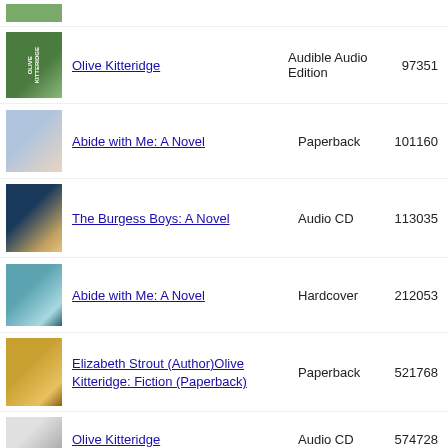Olive Kitteridge | Audible Audio Edition | 97351
Abide with Me: A Novel | Paperback | 101160
The Burgess Boys: A Novel | Audio CD | 113035
Abide with Me: A Novel | Hardcover | 212053
Elizabeth Strout (Author)Olive Kitteridge: Fiction (Paperback) | Paperback | 521768
Olive Kitteridge | Audio CD | 574728